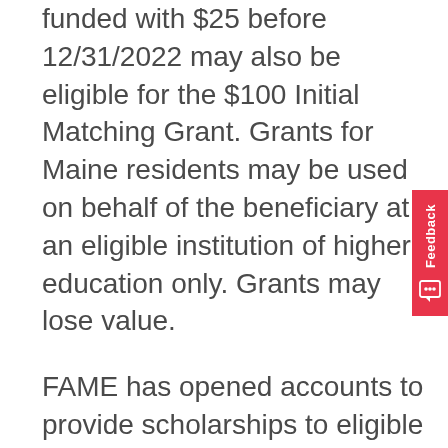funded with $25 before 12/31/2022 may also be eligible for the $100 Initial Matching Grant. Grants for Maine residents may be used on behalf of the beneficiary at an eligible institution of higher education only. Grants may lose value.
FAME has opened accounts to provide scholarships to eligible Maine students, to certain individuals in Maine's incumbent